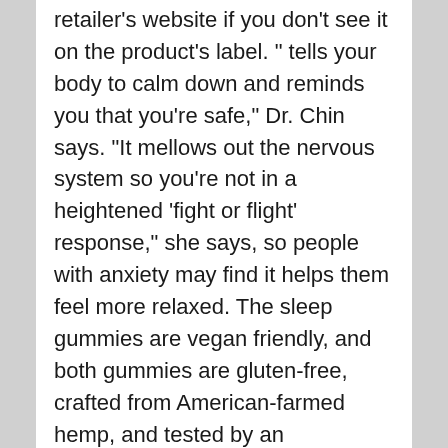retailer's website if you don't see it on the product's label. " tells your body to calm down and reminds you that you're safe," Dr. Chin says. "It mellows out the nervous system so you're not in a heightened 'fight or flight' response," she says, so people with anxiety may find it helps them feel more relaxed. The sleep gummies are vegan friendly, and both gummies are gluten-free, crafted from American-farmed hemp, and tested by an independent 3rd party lab with easy to access lab results. What's more, many products contain a blend of ingredients, not just CBD. For example, dietary supplements that contain CBD plus a blend of herbal ingredients may not be safe for everyone, as many herbs have the potential to interact with commonly prescribed medications.